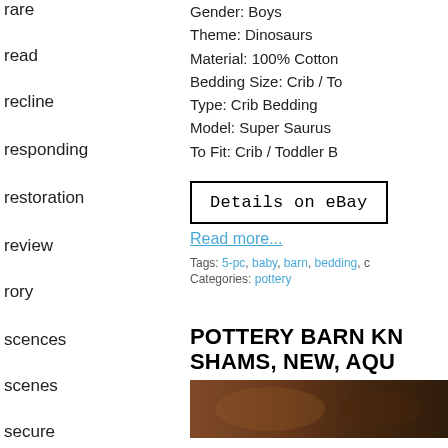rare
read
recline
responding
restoration
review
rory
scences
scenes
secure
Gender: Boys
Theme: Dinosaurs
Material: 100% Cotton
Bedding Size: Crib / To
Type: Crib Bedding
Model: Super Saurus
To Fit: Crib / Toddler B
Details on eBay
Read more...
Tags: 5-pc, baby, barn, bedding, c
Categories: pottery
POTTERY BARN KN SHAMS, NEW, AQU
[Figure (photo): Product image strip showing dark brown tones, partial view of a bedding product]